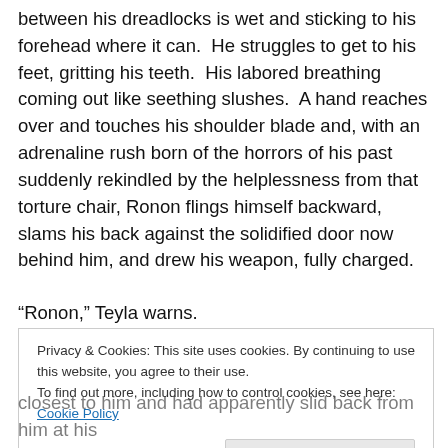between his dreadlocks is wet and sticking to his forehead where it can.  He struggles to get to his feet, gritting his teeth.  His labored breathing coming out like seething slushes.  A hand reaches over and touches his shoulder blade and, with an adrenaline rush born of the horrors of his past suddenly rekindled by the helplessness from that torture chair, Ronon flings himself backward, slams his back against the solidified door now behind him, and drew his weapon, fully charged.
“Ronon,” Teyla warns.
Privacy & Cookies: This site uses cookies. By continuing to use this website, you agree to their use.
To find out more, including how to control cookies, see here: Cookie Policy
Close and accept
closest to him and had apparently slid back from him at his